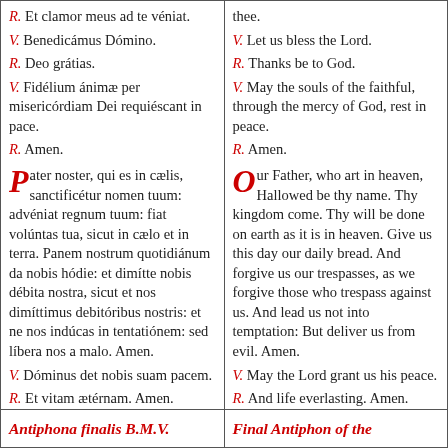R. Et clamor meus ad te véniat. V. Benedicámus Dómino. R. Deo grátias. V. Fidélium ánimæ per misericórdiam Dei requiéscant in pace. R. Amen. Pater noster, qui es in cælis, sanctificétur nomen tuum: advéniat regnum tuum: fiat volúntas tua, sicut in cælo et in terra. Panem nostrum quotidiánum da nobis hódie: et dimítte nobis débita nostra, sicut et nos dimíttimus debitóribus nostris: et ne nos indúcas in tentatiónem: sed líbera nos a malo. Amen. V. Dóminus det nobis suam pacem. R. Et vitam ætérnam. Amen.
thee. V. Let us bless the Lord. R. Thanks be to God. V. May the souls of the faithful, through the mercy of God, rest in peace. R. Amen. Our Father, who art in heaven, Hallowed be thy name. Thy kingdom come. Thy will be done on earth as it is in heaven. Give us this day our daily bread. And forgive us our trespasses, as we forgive those who trespass against us. And lead us not into temptation: But deliver us from evil. Amen. V. May the Lord grant us his peace. R. And life everlasting. Amen.
Antiphona finalis B.M.V.
Final Antiphon of the Blessed Virgin M...